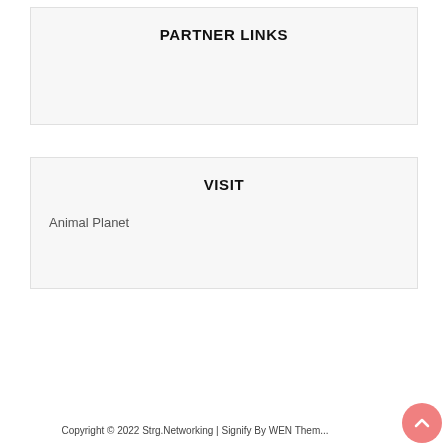PARTNER LINKS
VISIT
Animal Planet
Copyright © 2022 Strg.Networking | Signify By WEN Them...